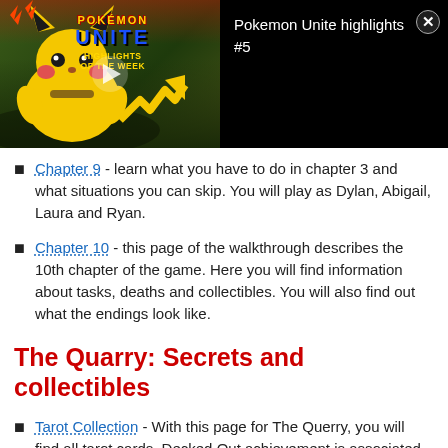[Figure (screenshot): Pokemon Unite Highlights video thumbnail with Pikachu and play button, shown as a video notification/banner with title 'Pokemon Unite highlights #5' and a close button]
Chapter 9 - learn what you have to do in chapter 3 and what situations you can skip. You will play as Dylan, Abigail, Laura and Ryan.
Chapter 10 - this page of the walkthrough describes the 10th chapter of the game. Here you will find information about tasks, deaths and collectibles. You will also find out what the endings look like.
The Quarry: Secrets and collectibles
Tarot Collection - With this page for The Querry, you will find all tarot cards. Decked Out achievement is associated with the collectibles.
Freakshow Fire - This page of the guide contains